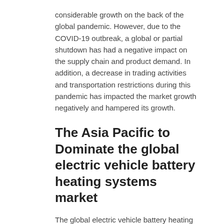considerable growth on the back of the global pandemic. However, due to the COVID-19 outbreak, a global or partial shutdown has had a negative impact on the supply chain and product demand. In addition, a decrease in trading activities and transportation restrictions during this pandemic has impacted the market growth negatively and hampered its growth.
The Asia Pacific to Dominate the global electric vehicle battery heating systems market
The global electric vehicle battery heating systems market covers six regions, namely Europe, North America, Asia Pacific, Latin America (LATAM), Middle East, and Africa, including all the key economies in these regions. However, the Asia Pacific is dominated by the global market and accounts for more than 31.4% of the target market. This is attributed to increasing demand for the battery heating systems in electric vehicles and rising collaboration among players to enhance market penetration.